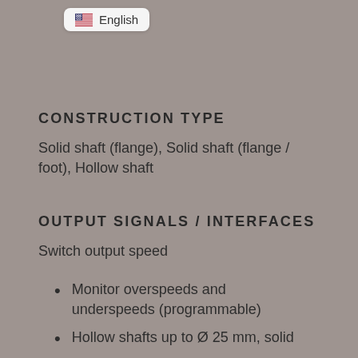[Figure (other): Language selector badge showing US flag emoji and 'English' text]
CONSTRUCTION TYPE
Solid shaft (flange), Solid shaft (flange / foot), Hollow shaft
OUTPUT SIGNALS / INTERFACES
Switch output speed
Monitor overspeeds and underspeeds (programmable)
Hollow shafts up to Ø 25 mm, solid